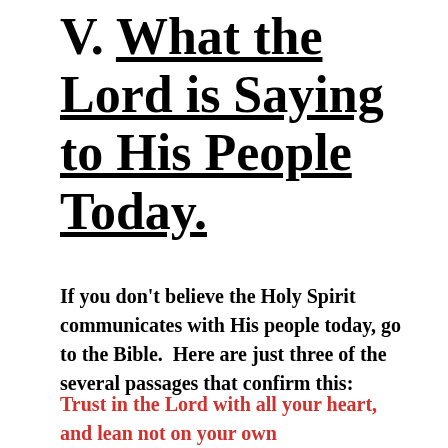V. What the Lord is Saying to His People Today.
If you don't believe the Holy Spirit communicates with His people today, go to the Bible.  Here are just three of the several passages that confirm this:
Trust in the Lord with all your heart, and lean not on your own understanding; in all your ways acknowledge Him, and He shall direct